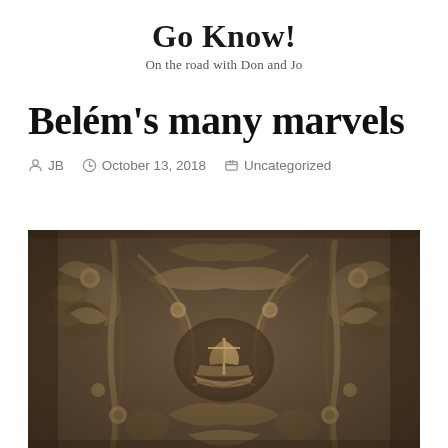Go Know!
On the road with Don and Jo
Belém’s many marvels
JB  October 13, 2018  Uncategorized
[Figure (photo): Decorative stone relief carving featuring intricate Manueline-style ornaments including foliage, flowers, twisted ropes, and a sailing ship in the center, typical of Belém monuments in Portugal.]